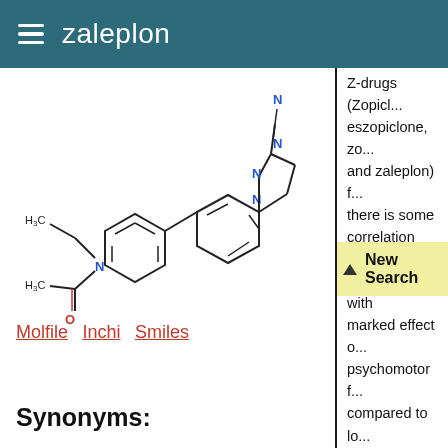zaleplon
[Figure (schematic): Chemical structure diagram of zaleplon molecule showing imidazopyridine ring system with cyano group (N in blue), nitrogen atoms (blue), oxygen atom (red), and N-ethyl-N-acetyl aniline substituent with H3C labels and O label]
Molfile  Inchi  Smiles
Synonyms:
Z-drugs (Zopicl... eszopiclone, zo... and zaleplon) f... there is some correlation with a hypnotic with marked effect o... psychomotor f... compared to lo...
Molecular weight: 305.34
Molecular formula: C17H15N5...
CLOGP: 1.4...
LIPINSKI: 0...
HAC: 6